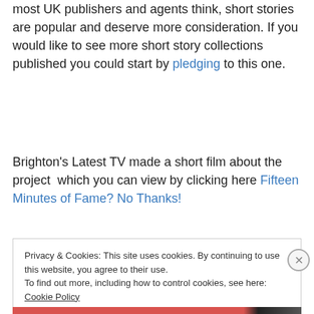most UK publishers and agents think, short stories are popular and deserve more consideration. If you would like to see more short story collections published you could start by pledging to this one.
Brighton's Latest TV made a short film about the project which you can view by clicking here Fifteen Minutes of Fame? No Thanks!
Privacy & Cookies: This site uses cookies. By continuing to use this website, you agree to their use. To find out more, including how to control cookies, see here: Cookie Policy